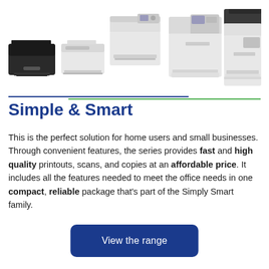[Figure (photo): Five Pantum printers/multifunction devices arranged in a row from left to right, increasing in size and complexity: a small black laser printer, a white desktop printer, a white multifunction printer with flatbed scanner, a larger white multifunction printer, and a large white multifunction printer with document feeder.]
Simple & Smart
This is the perfect solution for home users and small businesses. Through convenient features, the series provides fast and high quality printouts, scans, and copies at an affordable price. It includes all the features needed to meet the office needs in one compact, reliable package that's part of the Simply Smart family.
View the range